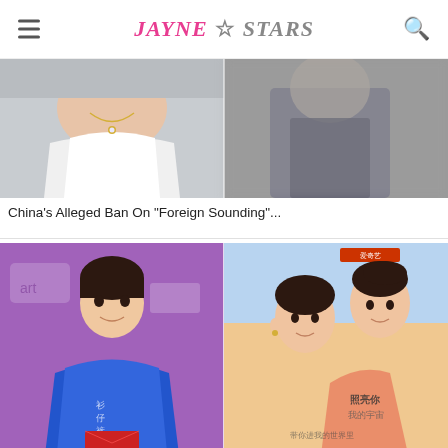Jayne Stars
[Figure (photo): Cropped image of woman in white off-shoulder dress with diamond necklace on left, blurred man in dark suit on right]
China’s Alleged Ban On “Foreign Sounding”...
[Figure (photo): Left: Young man in blue hoodie holding red envelope in front of purple graffiti wall. Right: Chinese drama poster showing couple about to kiss with Chinese text overlay.]